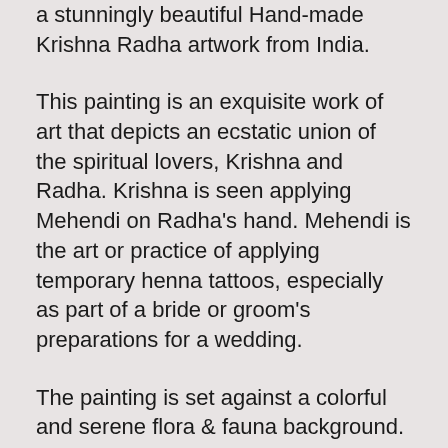a stunningly beautiful Hand-made Krishna Radha artwork from India.
This painting is an exquisite work of art that depicts an ecstatic union of the spiritual lovers, Krishna and Radha. Krishna is seen applying Mehendi on Radha's hand. Mehendi is the art or practice of applying temporary henna tattoos, especially as part of a bride or groom's preparations for a wedding.
The painting is set against a colorful and serene flora & fauna background. It brings out the most colorful side of our Gods.
It will make a superb display in your home or office for a brilliant showcase of fine artistry and you are bound to get many compliments even as Lord Krishna brings a festive touch to your decor.